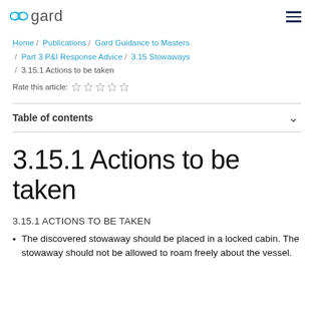gard
Home / Publications / Gard Guidance to Masters / Part 3 P&I Response Advice / 3.15 Stowaways / 3.15.1 Actions to be taken
Rate this article:
Table of contents
3.15.1 Actions to be taken
3.15.1 ACTIONS TO BE TAKEN
The discovered stowaway should be placed in a locked cabin. The stowaway should not be allowed to roam freely about the vessel.